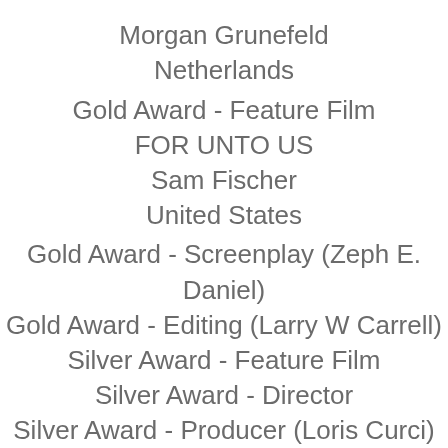Morgan Grunefeld
Netherlands
Gold Award - Feature Film
FOR UNTO US
Sam Fischer
United States
Gold Award - Screenplay (Zeph E. Daniel)
Gold Award - Editing (Larry W Carrell)
Silver Award - Feature Film
Silver Award - Director
Silver Award - Producer (Loris Curci)